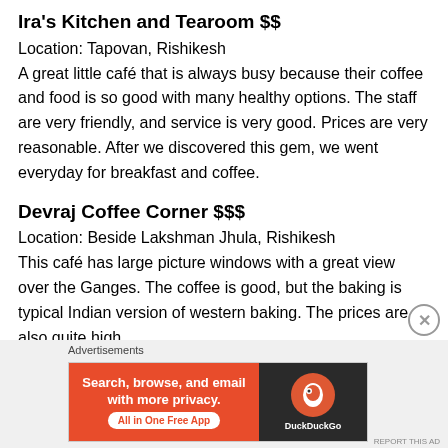Ira's Kitchen and Tearoom $$
Location: Tapovan, Rishikesh
A great little café that is always busy because their coffee and food is so good with many healthy options. The staff are very friendly, and service is very good. Prices are very reasonable. After we discovered this gem, we went everyday for breakfast and coffee.
Devraj Coffee Corner $$$
Location: Beside Lakshman Jhula, Rishikesh
This café has large picture windows with a great view over the Ganges. The coffee is good, but the baking is typical Indian version of western baking. The prices are also quite high.
[Figure (other): DuckDuckGo advertisement banner: Search, browse, and email with more privacy. All in One Free App]
Advertisements